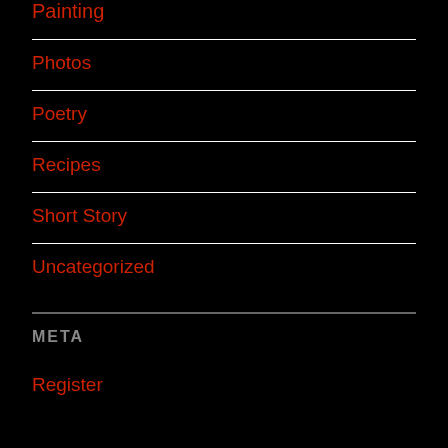Painting
Photos
Poetry
Recipes
Short Story
Uncategorized
META
Register